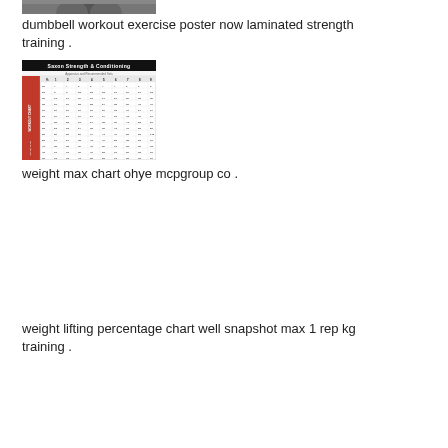[Figure (photo): Cropped photo of a person, likely demonstrating a workout or exercise, shown from roughly shoulder height, cut off at top of frame.]
dumbbell workout exercise poster now laminated strength training .
[Figure (table-as-image): Saxon Strength & Conditioning chart showing a weight max / rep chart with rows and columns of numbers, red left column with vertical label, dark header bar reading Saxon Strength & Conditioning.]
weight max chart ohye mcpgroup co .
weight lifting percentage chart well snapshot max 1 rep kg training .